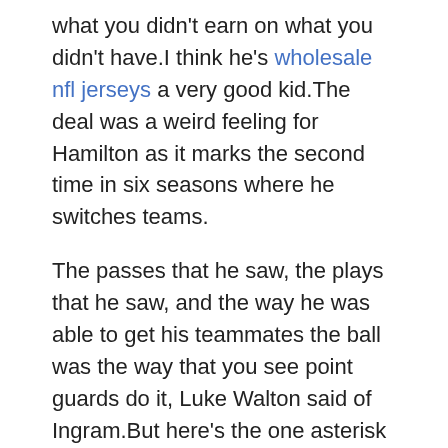what you didn't earn on what you didn't have.I think he's wholesale nfl jerseys a very good kid.The deal was a weird feeling for Hamilton as it marks the second time in six seasons where he switches teams.
The passes that he saw, the plays that he saw, and the way he was able to get his teammates the ball was the way that you see point guards do it, Luke Walton said of Ingram.But here's the one asterisk I'll put with that last response: https://www.jerseyswholesaleelitedeal.com As long as there are no more major injuries to key players .But the Colorado teammates have bonded through the physical toll of 81 games each year at